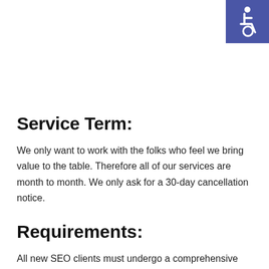[Figure (illustration): Accessibility icon — white wheelchair symbol on a dark blue/indigo square background, positioned in the top-right corner of the page.]
Service Term:
We only want to work with the folks who feel we bring value to the table. Therefore all of our services are month to month. We only ask for a 30-day cancellation notice.
Requirements:
All new SEO clients must undergo a comprehensive SEO audit. We charge for these audits. They generally take 2-3 weeks to